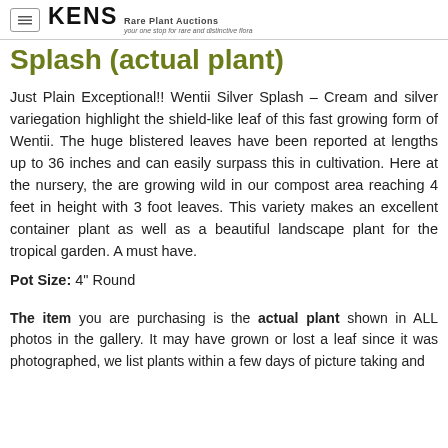KENS Rare Plant Auctions – your one stop for rare and distinctive flora
Splash (actual plant)
Just Plain Exceptional!! Wentii Silver Splash – Cream and silver variegation highlight the shield-like leaf of this fast growing form of Wentii. The huge blistered leaves have been reported at lengths up to 36 inches and can easily surpass this in cultivation. Here at the nursery, the are growing wild in our compost area reaching 4 feet in height with 3 foot leaves. This variety makes an excellent container plant as well as a beautiful landscape plant for the tropical garden. A must have.
Pot Size: 4" Round
The item you are purchasing is the actual plant shown in ALL photos in the gallery. It may have grown or lost a leaf since it was photographed, we list plants within a few days of picture taking and